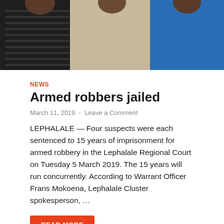[Figure (photo): Three men standing together, partially cropped at torso level. The man in the middle wears a beige polo shirt, the man on the left wears a black striped shirt, and the man on the right wears a blue shirt.]
NEWS
Armed robbers jailed
March 11, 2019  -  Leave a Comment
LEPHALALE — Four suspects were each sentenced to 15 years of imprisonment for armed robbery in the Lephalale Regional Court on Tuesday 5 March 2019. The 15 years will run concurrently. According to Warrant Officer Frans Mokoena, Lephalale Cluster spokesperson, …
READ MORE
[Figure (photo): Three side-by-side photos at the bottom of the page showing various objects related to a crime scene or evidence.]